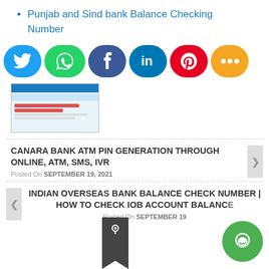Punjab and Sind bank Balance Checking Number
[Figure (infographic): Row of six social share buttons: Twitter (blue), WhatsApp (green), Facebook (dark blue), LinkedIn (blue), Pinterest (red), Share (orange), each with icons]
[Figure (screenshot): Small thumbnail screenshot of a banking website interface with blue header and red buttons]
CANARA BANK ATM PIN GENERATION THROUGH ONLINE, ATM, SMS, IVR
Posted On SEPTEMBER 19, 2021
INDIAN OVERSEAS BANK BALANCE CHECK NUMBER | HOW TO CHECK IOB ACCOUNT BALANCE
Posted On SEPTEMBER 19,